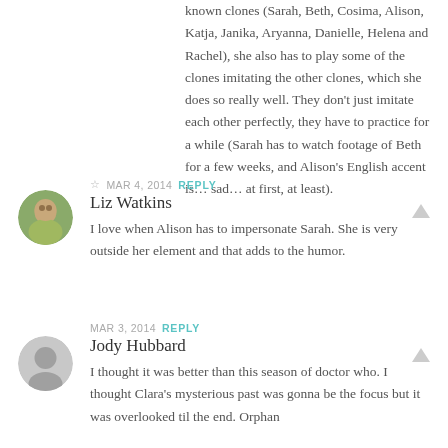known clones (Sarah, Beth, Cosima, Alison, Katja, Janika, Aryanna, Danielle, Helena and Rachel), she also has to play some of the clones imitating the other clones, which she does so really well. They don't just imitate each other perfectly, they have to practice for a while (Sarah has to watch footage of Beth for a few weeks, and Alison's English accent is… sad… at first, at least).
☆ MAR 4, 2014 REPLY
Liz Watkins
I love when Alison has to impersonate Sarah. She is very outside her element and that adds to the humor.
MAR 3, 2014 REPLY
Jody Hubbard
I thought it was better than this season of doctor who. I thought Clara's mysterious past was gonna be the focus but it was overlooked til the end. Orphan